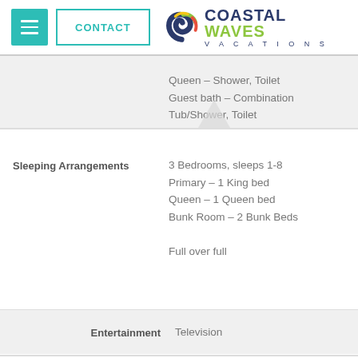[Figure (logo): Coastal Waves Vacations logo with swirl graphic and menu/contact buttons in header]
Queen – Shower, Toilet
Guest bath – Combination Tub/Shower, Toilet
Sleeping Arrangements
3 Bedrooms, sleeps 1-8
Primary – 1 King bed
Queen – 1 Queen bed
Bunk Room – 2 Bunk Beds
Full over full
Entertainment
Television
Outdoor
Outdoor Grill